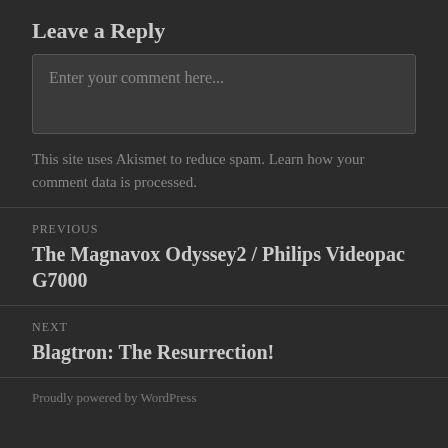Leave a Reply
[Figure (other): Comment input text area with placeholder text 'Enter your comment here...']
This site uses Akismet to reduce spam. Learn how your comment data is processed.
PREVIOUS
The Magnavox Odyssey2 / Philips Videopac G7000
NEXT
Blagtron: The Resurrection!
Proudly powered by WordPress